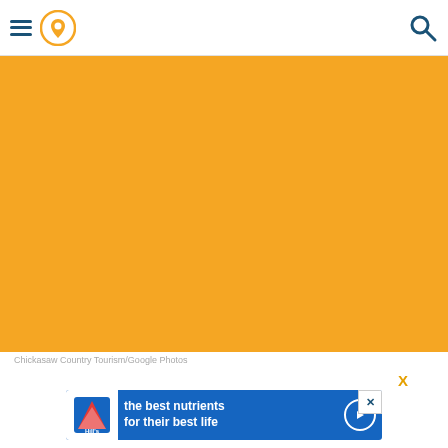[Figure (other): Website navigation bar with hamburger menu icon, location pin icon in orange circle, and search icon on the right]
[Figure (photo): Large orange/golden hero image placeholder area representing a photo]
Chickasaw Country Tourism/Google Photos
[Figure (other): Advertisement banner for Hill's pet food with text 'the best nutrients for their best life', Hill's logo on left and play button on right. Orange X close button above the ad.]